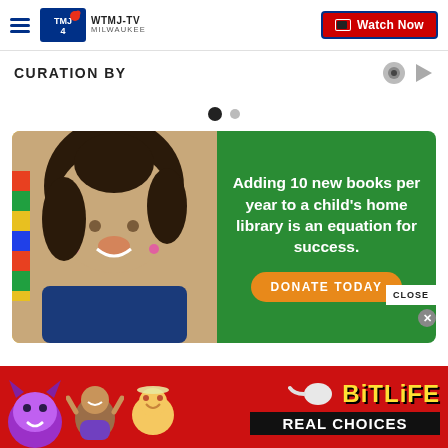WTMJ-TV MILWAUKEE | Watch Now
CURATION BY
[Figure (other): Carousel dot indicators: one filled black dot and one smaller gray dot]
[Figure (photo): Advertisement banner: Photo of a smiling Black girl in a blue shirt holding books in a bookstore, overlaid on a green background with text: 'Adding 10 new books per year to a child's home library is an equation for success.' with an orange 'DONATE TODAY' button. A CLOSE button is in the bottom right corner.]
[Figure (advertisement): BitLife mobile game advertisement at the bottom: red background with devil emoji, girl raising hands emoji, angel emoji, sperm emoji icons and 'BitLife REAL CHOICES' text in yellow and white]